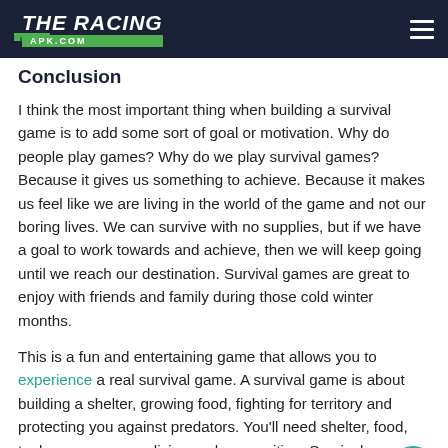THE RACING APK.COM
Conclusion
I think the most important thing when building a survival game is to add some sort of goal or motivation. Why do people play games? Why do we play survival games? Because it gives us something to achieve. Because it makes us feel like we are living in the world of the game and not our boring lives. We can survive with no supplies, but if we have a goal to work towards and achieve, then we will keep going until we reach our destination. Survival games are great to enjoy with friends and family during those cold winter months.
This is a fun and entertaining game that allows you to experience a real survival game. A survival game is about building a shelter, growing food, fighting for territory and protecting you against predators. You'll need shelter, food, tools, weapons, medicine and ammunition. Survival games are